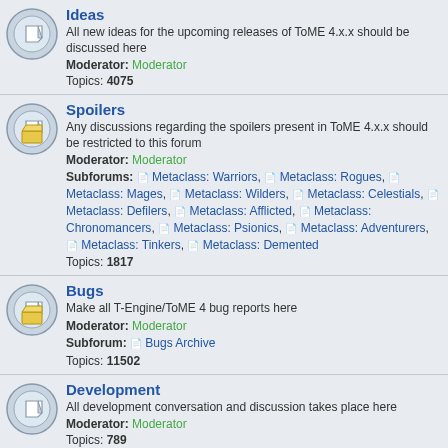Ideas - All new ideas for the upcoming releases of ToME 4.x.x should be discussed here. Moderator: Moderator. Topics: 4075
Spoilers - Any discussions regarding the spoilers present in ToME 4.x.x should be restricted to this forum. Moderator: Moderator. Subforums: Metaclass: Warriors, Metaclass: Rogues, Metaclass: Mages, Metaclass: Wilders, Metaclass: Celestials, Metaclass: Defilers, Metaclass: Afflicted, Metaclass: Chronomancers, Metaclass: Psionics, Metaclass: Adventurers, Metaclass: Tinkers, Metaclass: Demented. Topics: 1817
Bugs - Make all T-Engine/ToME 4 bug reports here. Moderator: Moderator. Subforum: Bugs Archive. Topics: 11502
Development - All development conversation and discussion takes place here. Moderator: Moderator. Topics: 789
Addons - A place to post your add ons and ideas for them. Moderator: Moderator. Topics: 1047
T-Engine 4
General Discussion - Moderator: Moderator